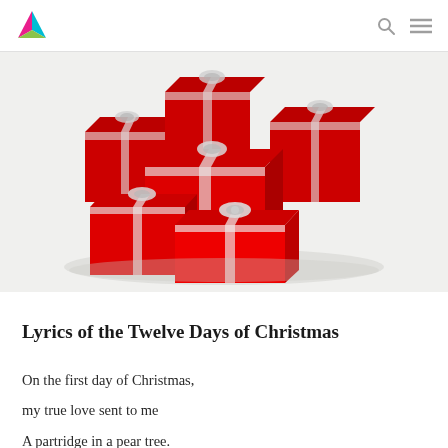[Logo] [Search icon] [Menu icon]
[Figure (photo): A group of red Christmas gift boxes wrapped with white ribbon and silver bows, arranged in a pile on a white background, rendered as a 3D illustration.]
Lyrics of the Twelve Days of Christmas
On the first day of Christmas,
my true love sent to me
A partridge in a pear tree.